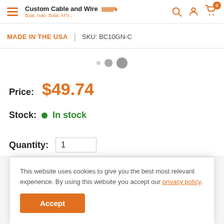Custom Cable and Wire — Boat. Auto. Solar. ATV...
MADE IN THE USA | SKU: BC10GN-C
Price: $49.74
Stock: In stock
Quantity: 1
This website uses cookies to give you the best most relevant experience. By using this website you accept our privacy policy.